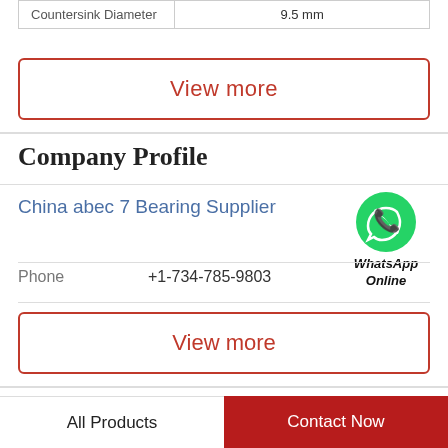|  |  |
| --- | --- |
| Countersink Diameter | 9.5 mm |
View more
Company Profile
China abec 7 Bearing Supplier
[Figure (logo): WhatsApp green phone icon with label 'WhatsApp Online']
Phone   +1-734-785-9803
View more
Related News
All Products
Contact Now